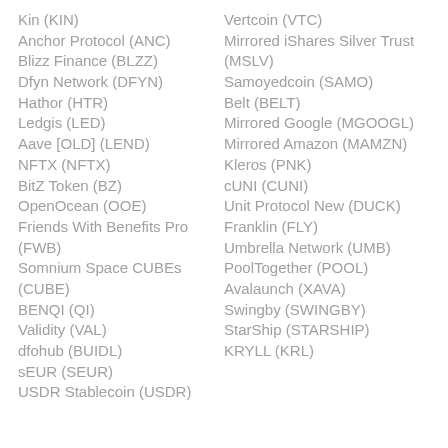Kin (KIN)
Anchor Protocol (ANC)
Blizz Finance (BLZZ)
Dfyn Network (DFYN)
Hathor (HTR)
Ledgis (LED)
Aave [OLD] (LEND)
NFTX (NFTX)
BitZ Token (BZ)
OpenOcean (OOE)
Friends With Benefits Pro (FWB)
Somnium Space CUBEs (CUBE)
BENQI (QI)
Validity (VAL)
dfohub (BUIDL)
sEUR (SEUR)
USDR Stablecoin (USDR)
Vertcoin (VTC)
Mirrored iShares Silver Trust (MSLV)
Samoyedcoin (SAMO)
Belt (BELT)
Mirrored Google (MGOOGL)
Mirrored Amazon (MAMZN)
Kleros (PNK)
cUNI (CUNI)
Unit Protocol New (DUCK)
Franklin (FLY)
Umbrella Network (UMB)
PoolTogether (POOL)
Avalaunch (XAVA)
Swingby (SWINGBY)
StarShip (STARSHIP)
KRYLL (KRL)